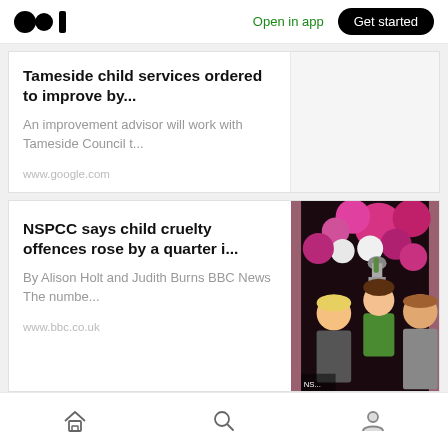Open in app | Get started
Tameside child services ordered to improve by...
An improvement advisor will work with Tameside Council t...
www.google.com
NSPCC says child cruelty offences rose by a quarter i...
By Alison Holt and Judith Burns BBC News The numbe...
www.bbc.co.uk
[Figure (photo): A child in a green shirt holding a trophy aloft, with two adults (a woman with blonde hair and a man) smiling behind, surrounded by pink, white and purple balloons.]